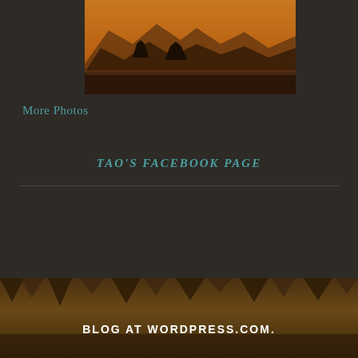[Figure (photo): Sepia-toned landscape photo showing mountain silhouettes against an orange-amber sky with trees in the foreground]
More Photos
TAO'S FACEBOOK PAGE
[Figure (photo): Dark brown textured photo of cave or rocky formations]
BLOG AT WORDPRESS.COM.